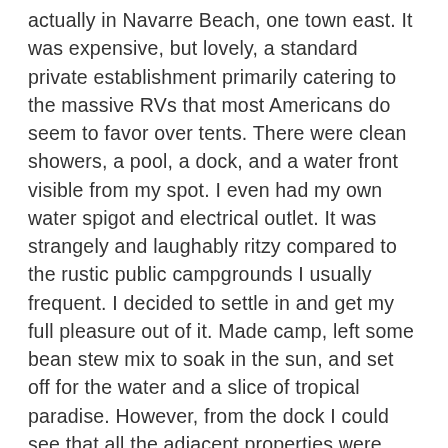actually in Navarre Beach, one town east. It was expensive, but lovely, a standard private establishment primarily catering to the massive RVs that most Americans do seem to favor over tents. There were clean showers, a pool, a dock, and a water front visible from my spot. I even had my own water spigot and electrical outlet. It was strangely and laughably ritzy compared to the rustic public campgrounds I usually frequent. I decided to settle in and get my full pleasure out of it. Made camp, left some bean stew mix to soak in the sun, and set off for the water and a slice of tropical paradise. However, from the dock I could see that all the adjacent properties were derelict and abandoned. I supposed that a hurricane had wrecked them, and in the present economy their owners had no choice but to leave them. It was so odd to see vacations homes at their very end right next to a new resort campground. I walked along the beach to get a better look at them and took photos, but didn't enter. It felt too wrong, like desecration, like trespassing upon the graves of summer dreams. What is happening in this country that we cannot fix